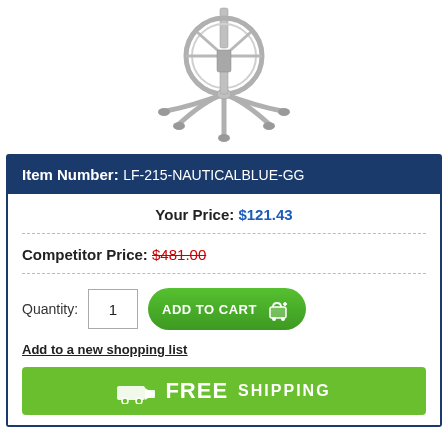[Figure (photo): Product photo of a chrome bar stool base with circular footrest ring and five-star base]
Item Number: LF-215-NAUTICALBLUE-GG
Your Price: $121.43
Competitor Price: $481.00
Quantity: 1
ADD TO CART
Add to a new shopping list
FREE SHIPPING